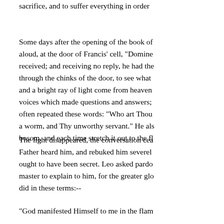sacrifice, and to suffer everything in order
Some days after the opening of the book of aloud, at the door of Francis' cell, "Domine received; and receiving no reply, he had the through the chinks of the door, to see what and a bright ray of light come from heaven voices which made questions and answers; often repeated these words: "Who art Thou a worm, and Thy unworthy servant." He als bosom, and each time stretch it out to the fl
The light disappeared, the conversation cea Father heard him, and rebuked him severel ought to have been secret. Leo asked pardo master to explain to him, for the greater glo did in these terms:--
"God manifested Himself to me in the flam